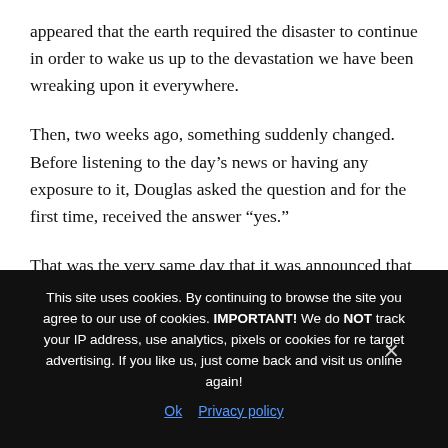appeared that the earth required the disaster to continue in order to wake us up to the devastation we have been wreaking upon it everywhere.
Then, two weeks ago, something suddenly changed. Before listening to the day's news or having any exposure to it, Douglas asked the question and for the first time, received the answer “yes.”
That was the very same day that it was announced that BP had managed to put a cap on the leak.
At this word from earth itself, Douglas summoned his troops. He sent a email request to the world wide list of
This site uses cookies. By continuing to browse the site you agree to our use of cookies. IMPORTANT! We do NOT track your IP address, use analytics, pixels or cookies for re target advertising. If you like us, just come back and visit us online again!
Ok   Privacy policy